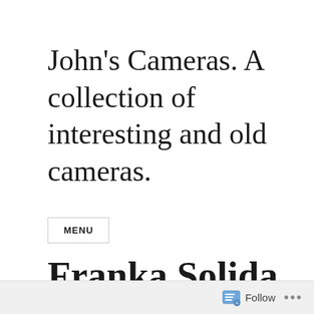John's Cameras. A collection of interesting and old cameras.
MENU
Franka Solida III
Follow ...